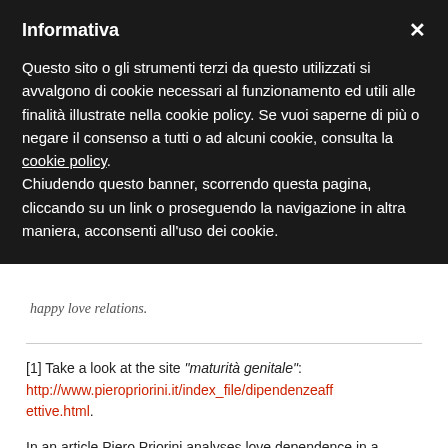Informativa
Questo sito o gli strumenti terzi da questo utilizzati si avvalgono di cookie necessari al funzionamento ed utili alle finalità illustrate nella cookie policy. Se vuoi saperne di più o negare il consenso a tutti o ad alcuni cookie, consulta la cookie policy.
Chiudendo questo banner, scorrendo questa pagina, cliccando su un link o proseguendo la navigazione in altra maniera, acconsenti all'uso dei cookie.
happy love relations.
[1] Take a look at the site "maturità genitale": http://www.pieropriorini.it/index_file/dipendenzeaffettive.html.
In an article Piero Priorini analyses love dependence in a modern psychoanalytic perspective. His analysis is similar to what I affirm